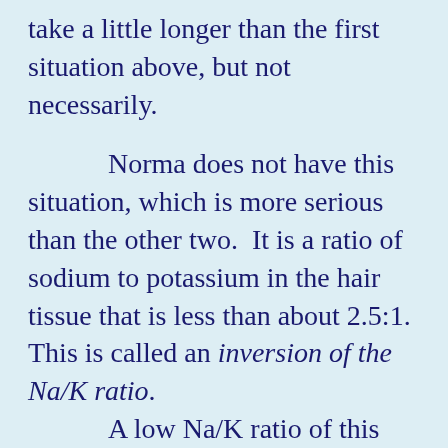take a little longer than the first situation above, but not necessarily.

      Norma does not have this situation, which is more serious than the other two.  It is a ratio of sodium to potassium in the hair tissue that is less than about 2.5:1.  This is called an inversion of the Na/K ratio.
      A low Na/K ratio of this type is a further indicator of fatigue, blood sugar imbalance, resentment, frustration, hostility and other metabolic